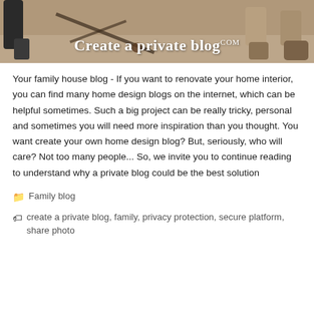[Figure (photo): Header image showing a construction/renovation scene with people's legs and feet visible on a dusty floor with tools. Overlaid text reads 'Create a private blog.com']
Your family house blog - If you want to renovate your home interior, you can find many home design blogs on the internet, which can be helpful sometimes. Such a big project can be really tricky, personal and sometimes you will need more inspiration than you thought. You want create your own home design blog? But, seriously, who will care? Not too many people... So, we invite you to continue reading to understand why a private blog could be the best solution
Family blog
create a private blog, family, privacy protection, secure platform, share photo